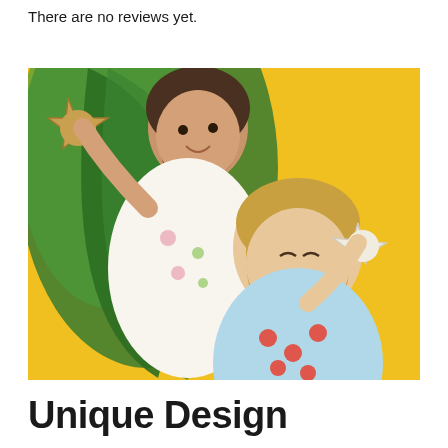There are no reviews yet.
[Figure (photo): Two girls holding starfish, wearing floral and crab-print summer outfits against a yellow and green tropical leaf background.]
Unique Design